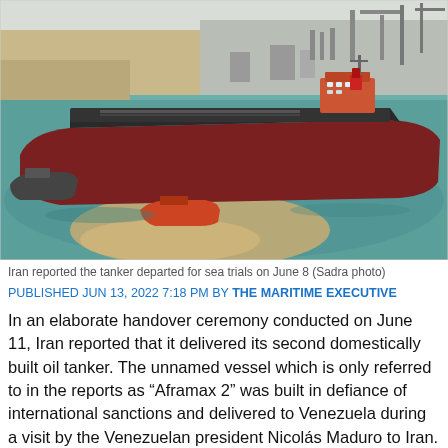[Figure (photo): Aerial view of a large red-hulled oil tanker in a harbor/port waterway, surrounded by tug boats. Industrial port infrastructure visible in the background with cranes and construction. Sandy/shallow areas visible in the water near the vessel.]
Iran reported the tanker departed for sea trials on June 8 (Sadra photo)
PUBLISHED JUN 13, 2022 7:18 PM BY THE MARITIME EXECUTIVE
In an elaborate handover ceremony conducted on June 11, Iran reported that it delivered its second domestically built oil tanker. The unnamed vessel which is only referred to in the reports as “Aframax 2” was built in defiance of international sanctions and delivered to Venezuela during a visit by the Venezuelan president Nicolás Maduro to Iran.
“The construction and delivery of the tanker, which has also been approved by the Venezuelan Technical and